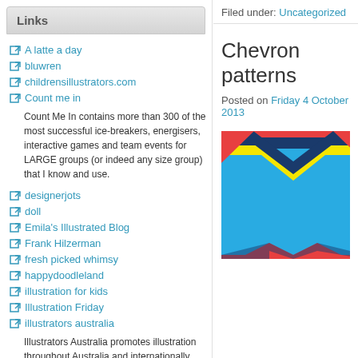Links
A latte a day
bluwren
childrensillustrators.com
Count me in
Count Me In contains more than 300 of the most successful ice-breakers, energisers, interactive games and team events for LARGE groups (or indeed any size group) that I know and use.
designerjots
doll
Emila's Illustrated Blog
Frank Hilzerman
fresh picked whimsy
happydoodleland
illustration for kids
Illustration Friday
illustrators australia
Illustrators Australia promotes illustration throughout Australia and internationally
imagezoospark
Janinne's Art Blog
Just Bee 'n Me
Filed under: Uncategorized
Chevron patterns
Posted on Friday 4 October 2013
[Figure (illustration): Chevron pattern image with blue, yellow, red and dark blue zigzag stripes]